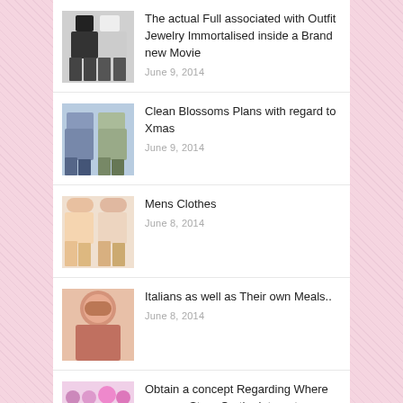The actual Full associated with Outfit Jewelry Immortalised inside a Brand new Movie
June 9, 2014
Clean Blossoms Plans with regard to Xmas
June 9, 2014
Mens Clothes
June 8, 2014
Italians as well as Their own Meals..
June 8, 2014
Obtain a concept Regarding Where you can Store On the internet
June 8, 2014
Exactly how To become a Style…